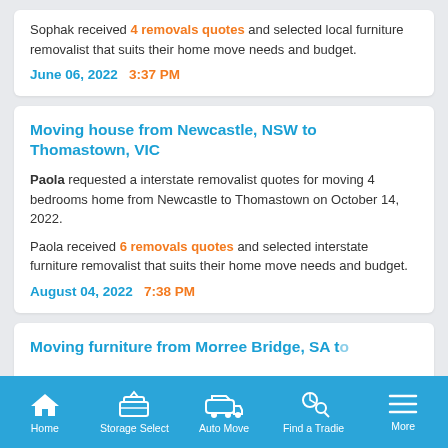Sophak received 4 removals quotes and selected local furniture removalist that suits their home move needs and budget.
June 06, 2022   3:37 PM
Moving house from Newcastle, NSW to Thomastown, VIC
Paola requested a interstate removalist quotes for moving 4 bedrooms home from Newcastle to Thomastown on October 14, 2022.
Paola received 6 removals quotes and selected interstate furniture removalist that suits their home move needs and budget.
August 04, 2022   7:38 PM
Moving furniture from Morree Bridge, SA to...
Home   Storage Select   Auto Move   Find a Tradie   More